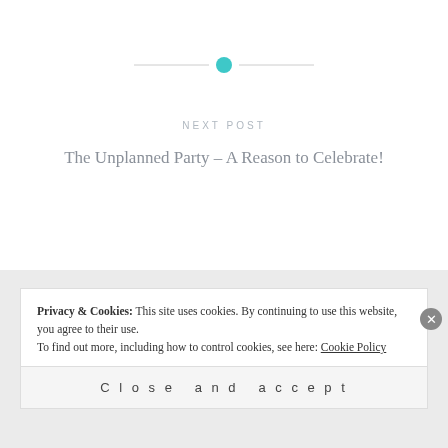[Figure (other): Horizontal decorative divider line with a teal/cyan filled circle in the center]
NEXT POST
The Unplanned Party – A Reason to Celebrate!
Privacy & Cookies: This site uses cookies. By continuing to use this website, you agree to their use.
To find out more, including how to control cookies, see here: Cookie Policy
Close and accept